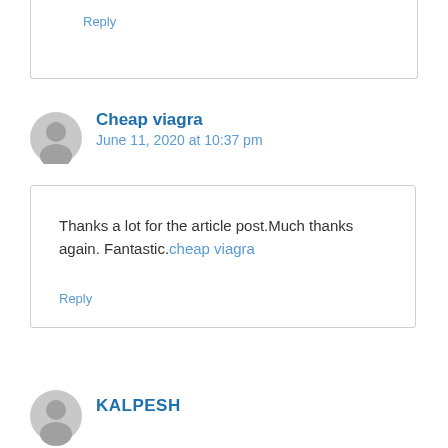Reply
Cheap viagra
June 11, 2020 at 10:37 pm
Thanks a lot for the article post.Much thanks again. Fantastic.cheap viagra
Reply
KALPESH